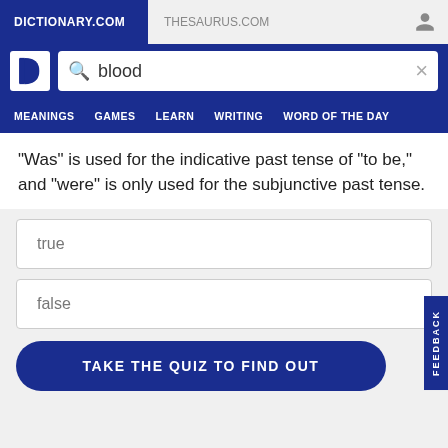DICTIONARY.COM   THESAURUS.COM
“Was” is used for the indicative past tense of “to be,” and “were” is only used for the subjunctive past tense.
true
false
TAKE THE QUIZ TO FIND OUT